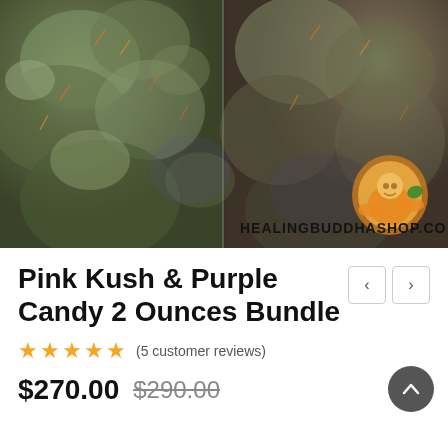[Figure (photo): Close-up macro photo of cannabis buds side by side (two panels), dark green and purple tones with orange pistils. Bottom right shows the HEALINGBUDDHASHOP.CO watermark logo with an orange Buddha character holding a cannabis leaf.]
Pink Kush & Purple Candy 2 Ounces Bundle
★★★★★ (5 customer reviews)
$270.00 $290.00